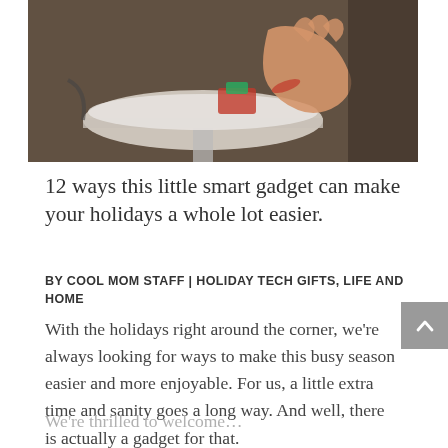[Figure (photo): Child's hand reaching over a white decorative table with a toy on it, brown background]
12 ways this little smart gadget can make your holidays a whole lot easier.
BY COOL MOM STAFF | HOLIDAY TECH GIFTS, LIFE AND HOME
With the holidays right around the corner, we're always looking for ways to make this busy season easier and more enjoyable. For us, a little extra time and sanity goes a long way. And well, there is actually a gadget for that.
We're thrilled to welcome…